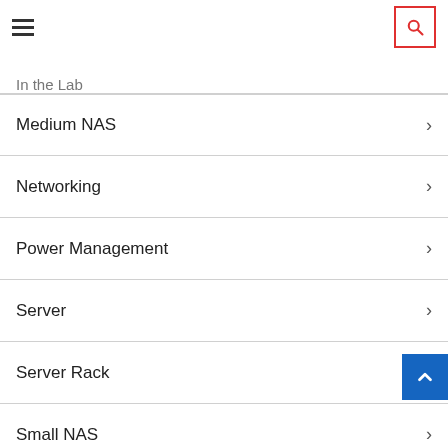Navigation menu with hamburger icon and search button
In the Lab
Medium NAS
Networking
Power Management
Server
Server Rack
Small NAS
Software